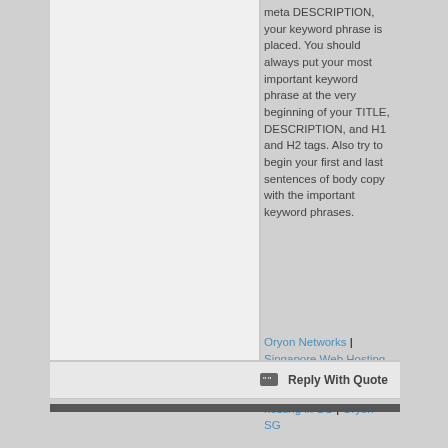meta DESCRIPTION, your keyword phrase is placed. You should always put your most important keyword phrase at the very beginning of your TITLE, DESCRIPTION, and H1 and H2 tags. Also try to begin your first and last sentences of body copy with the important keyword phrases.
Oryon Networks | Singapore Web Hosting | Best web hosting provider | Best web hosting in SG | Oryon SG
Reply With Quote